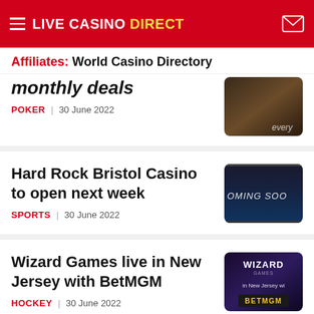LIVE CASINO DIRECT
Affiliates: World Casino Directory
monthly deals
POKER | 30 June 2022
Hard Rock Bristol Casino to open next week
SPORTS | 30 June 2022
Wizard Games live in New Jersey with BetMGM
HOCKEY | 30 June 2022